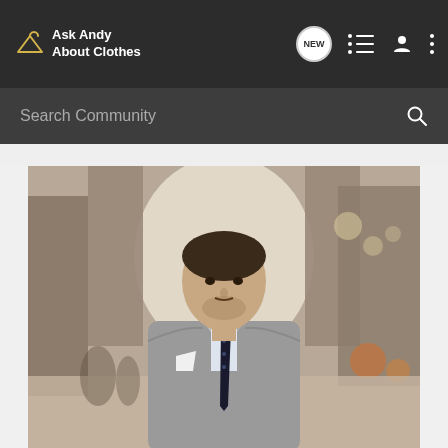Ask Andy About Clothes — navigation bar with NEW, list, user, and menu icons
Search Community
[Figure (photo): A well-dressed man in a grey houndstooth three-piece suit with a dark navy dotted tie and white pocket square, standing in a grand European arcade/galleria with a large arched entrance behind him, bokeh background with warm lights.]